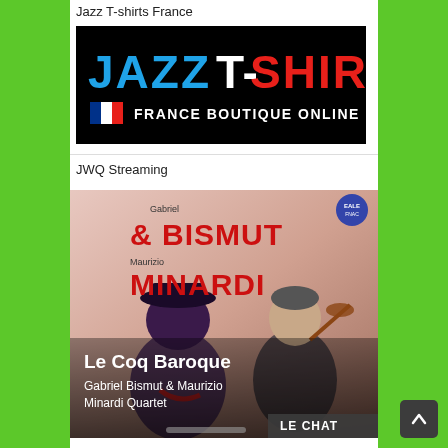Jazz T-shirts France
[Figure (logo): Jazz T-Shirts France Boutique Online logo — black background, 'JAZZ' in blue, 'T-SHIRTS' in white/red, French flag, 'FRANCE BOUTIQUE ONLINE' in white bold text]
JWQ Streaming
[Figure (photo): Album cover for 'Le Coq Baroque' by Gabriel Bismut & Maurizio Minardi Quartet. Shows two musicians on a pink/red background — one in hat and coat, one playing violin. Text overlay: 'Le Coq Baroque' and 'Gabriel Bismut & Maurizio Minardi Quartet'. Small circular badge top right. 'LE CHAT' label bottom right.]